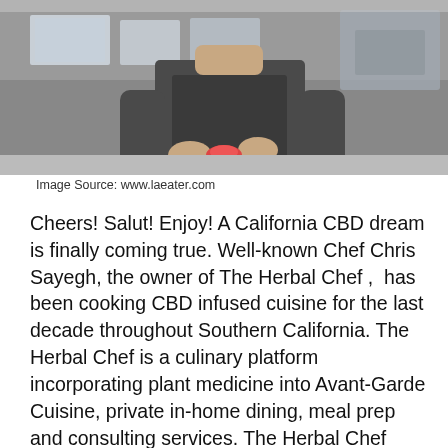[Figure (photo): A chef in an apron working in a professional kitchen, handling food with containers and equipment visible in the background.]
Image Source: www.laeater.com
Cheers! Salut! Enjoy! A California CBD dream is finally coming true. Well-known Chef Chris Sayegh, the owner of The Herbal Chef ,  has been cooking CBD infused cuisine for the last decade throughout Southern California. The Herbal Chef is a culinary platform incorporating plant medicine into Avant-Garde Cuisine, private in-home dining, meal prep and consulting services. The Herbal Chef “creates intriguing and delectable food first and infuses it with cannabis second” and now Chef Sayegh is opening a restaurant/bar in Santa Monica, California in 2022. Nostalgia will be located at 1326 Pico Blvd and open for customers daily from noon to two am. Nostalgia will also to explore and the transition